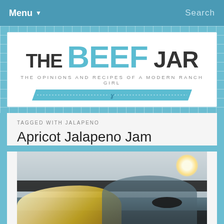Menu ▼   Search
[Figure (logo): The Beef Jar logo — THE BEEF JAR in large stylized text with a blue ribbon banner. Tagline: THE OPINIONS AND RECIPES OF A MODERN RANCH GIRL]
TAGGED WITH JALAPENO
Apricot Jalapeno Jam
[Figure (photo): Photo of two people, appears to show blonde hair, taken indoors with overhead lighting visible]